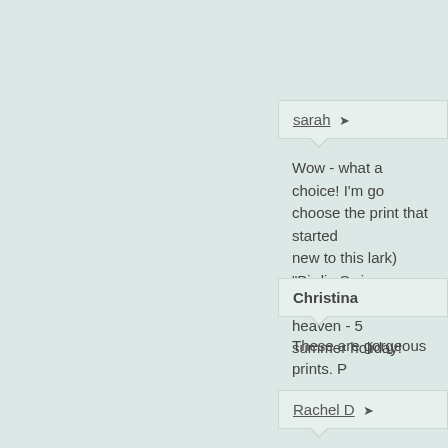sarah ➤
Wow - what a choice! I'm go choose the print that started new to this lark) "Birdie Swi choco - hmmmm heaven - 5 summer holiday!
Christina
These are gorgeous prints. P
Rachel D ➤
I love the Dino Dudes in the